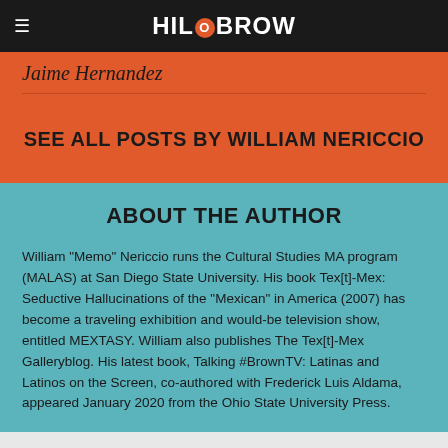HiloBrow
Jaime Hernandez
SEE ALL POSTS BY WILLIAM NERICCIO
ABOUT THE AUTHOR
William "Memo" Nericcio runs the Cultural Studies MA program (MALAS) at San Diego State University. His book Tex[t]-Mex: Seductive Hallucinations of the "Mexican" in America (2007) has become a traveling exhibition and would-be television show, entitled MEXTASY. William also publishes The Tex[t]-Mex Galleryblog. His latest book, Talking #BrownTV: Latinas and Latinos on the Screen, co-authored with Frederick Luis Aldama, appeared January 2020 from the Ohio State University Press.